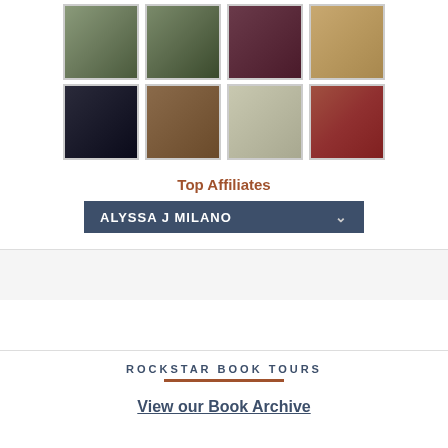[Figure (photo): Grid of 8 portrait photos in 2 rows of 4]
Top Affiliates
ALYSSA J MILANO
ROCKSTAR BOOK TOURS
View our Book Archive